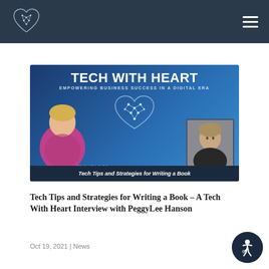Tech With Heart — Navigation bar with logo and hamburger menu
[Figure (illustration): Tech With Heart podcast banner featuring host Michelle Calloway and special guest PeggyLee Hanson, with tagline 'Empowering Business Success in a Digital Era' and subtitle 'Tech Tips and Strategies for Writing a Book']
Tech Tips and Strategies for Writing a Book – A Tech With Heart Interview with PeggyLee Hanson
Oct 19, 2021 | News